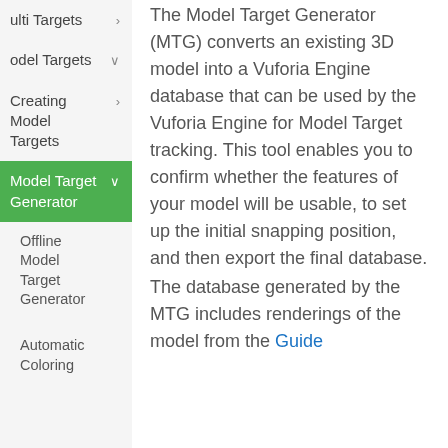Multi Targets
Model Targets
Creating Model Targets
Model Target Generator
Offline Model Target Generator
Automatic Coloring
The Model Target Generator (MTG) converts an existing 3D model into a Vuforia Engine database that can be used by the Vuforia Engine for Model Target tracking. This tool enables you to confirm whether the features of your model will be usable, to set up the initial snapping position, and then export the final database.
The database generated by the MTG includes renderings of the model from the Guide